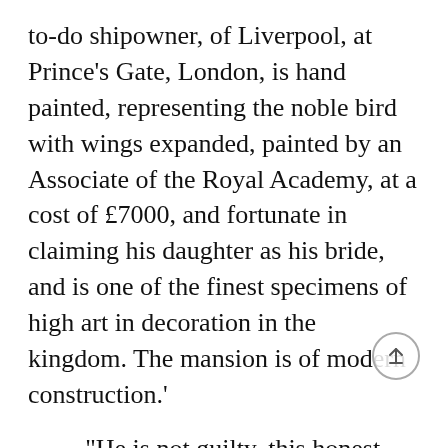to-do shipowner, of Liverpool, at Prince's Gate, London, is hand painted, representing the noble bird with wings expanded, painted by an Associate of the Royal Academy, at a cost of £7000, and fortunate in claiming his daughter as his bride, and is one of the finest specimens of high art in decoration in the kingdom. The mansion is of modern construction.'
“He is not guilty, this honest Associate! It was I, Atlas, who did this thing—alone I did it—I ‘hand painted’ this room in the ‘mansion of modern construction.’ Woe is me! I secreted, in the provincial shipowner’s home, the ‘noble bird with wings expanded’—I perpetrated in harmless obscurity, ‘the finest specimen of high-art decoration’ in the kingdom.